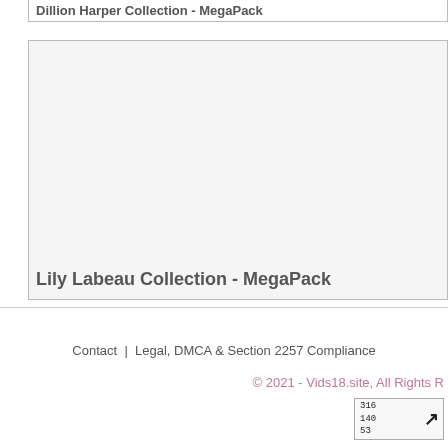Dillion Harper Collection - MegaPack
[Figure (other): Thumbnail image area for Lily Labeau Collection MegaPack, shown as a gray placeholder box]
Lily Labeau Collection - MegaPack
Contact | Legal, DMCA & Section 2257 Compliance
© 2021 - Vids18.site, All Rights R
[Figure (other): Site counter widget showing numbers 316, 140, 53 with an arrow icon]